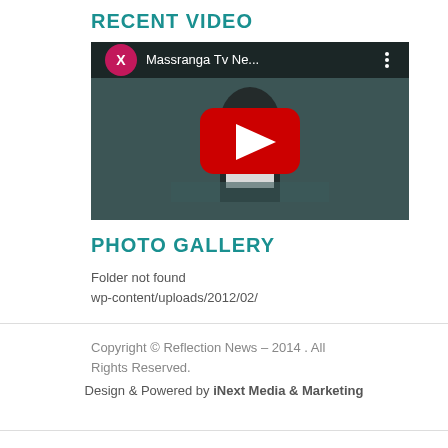RECENT VIDEO
[Figure (screenshot): YouTube video thumbnail showing a news presenter with YouTube play button overlay. Title shows 'Massranga Tv Ne...' with a pink/magenta X channel icon.]
PHOTO GALLERY
Folder not found wp-content/uploads/2012/02/
Copyright © Reflection News – 2014 . All Rights Reserved.
Design & Powered by iNext Media & Marketing